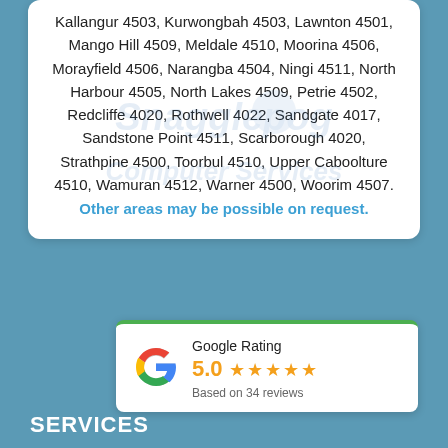Kallangur 4503, Kurwongbah 4503, Lawnton 4501, Mango Hill 4509, Meldale 4510, Moorina 4506, Morayfield 4506, Narangba 4504, Ningi 4511, North Harbour 4505, North Lakes 4509, Petrie 4502, Redcliffe 4020, Rothwell 4022, Sandgate 4017, Sandstone Point 4511, Scarborough 4020, Strathpine 4500, Toorbul 4510, Upper Caboolture 4510, Wamuran 4512, Warner 4500, Woorim 4507.
Other areas may be possible on request.
[Figure (logo): Snagglepog Computer Services watermark logo in light blue overlaid on content]
Google Rating
5.0
Based on 34 reviews
SERVICES